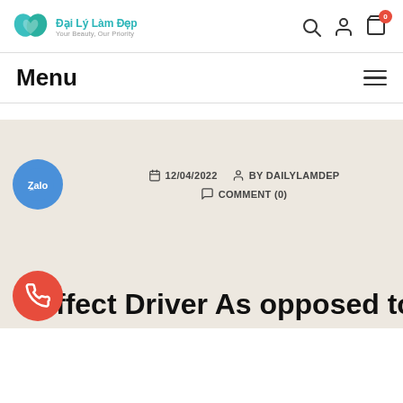[Figure (logo): Dai Ly Lam Dep logo with teal heart/butterfly icon and text 'Dai Ly Lam Dep / Your Beauty, Our Priority']
Đại Lý Làm Đẹp - Your Beauty, Our Priority
Menu
[Figure (screenshot): Blog post metadata and partial title on a beige background. Date: 12/04/2022, Author: BY DAILYLAMDEP, COMMENT (0). Partial title: 'ffect Driver As opposed to']
12/04/2022  BY DAILYLAMDEP  COMMENT (0)
ffect Driver As opposed to